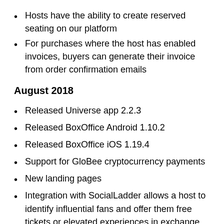Hosts have the ability to create reserved seating on our platform
For purchases where the host has enabled invoices, buyers can generate their invoice from order confirmation emails
August 2018
Released Universe app 2.2.3
Released BoxOffice Android 1.10.2
Released BoxOffice iOS 1.19.4
Support for GloBee cryptocurrency payments
New landing pages
Integration with SocialLadder allows a host to identify influential fans and offer them free tickets or elevated experiences in exchange for promoting their events
A host has the ability to add multiple additional fees